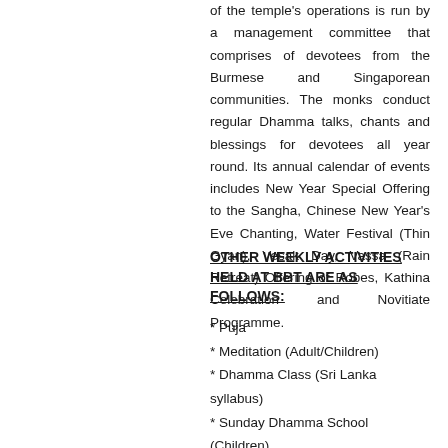of the temple's operations is run by a management committee that comprises of devotees from the Burmese and Singaporean communities. The monks conduct regular Dhamma talks, chants and blessings for devotees all year round. Its annual calendar of events includes New Year Special Offering to the Sangha, Chinese New Year's Eve Chanting, Water Festival (Thin Gyan), Vesak Day, Vassa (Rain Retreat) Offering of Robes, Kathina Celebration and Novitiate Programme.
OTHER WEEKLY ACTIVITIES HELD AT BBT ARE AS FOLLOWS:
* Puja
* Meditation (Adult/Children)
* Dhamma Class (Sri Lanka syllabus)
* Sunday Dhamma School (Children)